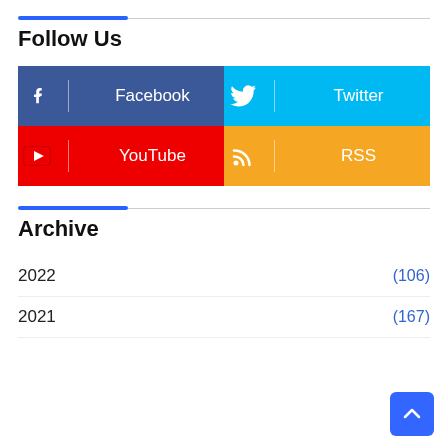Follow Us
Facebook
Twitter
YouTube
RSS
Archive
2022  (106)
2021  (167)